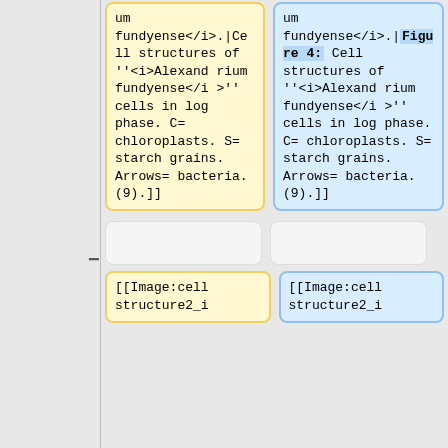um fundyense</i>.|Cell structures of ''<i>Alexandrium fundyense</i>'' cells in log phase. C= chloroplasts. S= starch grains. Arrows= bacteria. (9).]]
um fundyense</i>.|Figure 4: Cell structures of ''<i>Alexandrium fundyense</i>'' cells in log phase. C= chloroplasts. S= starch grains. Arrows= bacteria. (9).]]
[[Image:cell structure2_i
[[Image:cell structure2_i